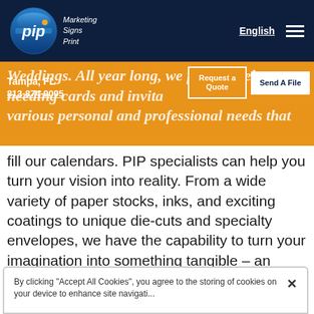[Figure (logo): PIP Marketing Signs Print logo — blue circle with white 'pip' text and orange dot, with italic white text 'Marketing Signs Print' beside it]
English  ☰
Weddings. All year long, we find ourselves needing cards and invitations for various personal and professional needs that fill our calendars. PIP specialists can help you turn your vision into reality. From a wide variety of paper stocks, inks, and exciting coatings to unique die-cuts and specialty envelopes, we have the capability to turn your imagination into something tangible – an impressive card or invitation.
Tampa, FL
813-874-9095
Request a Quote
Send A File
By clicking "Accept All Cookies", you agree to the storing of cookies on your device to enhance site navigati...